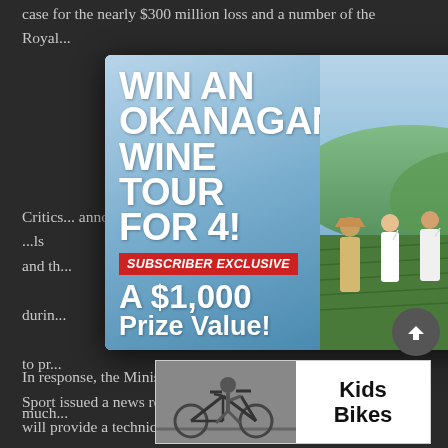case for the nearly $300 million loss and a number of the Royal...
Critics... announced... ls and the... NDP during... ment to pr... o much... ld be sp...
[Figure (other): Advertisement modal popup: WIN AN OKANAGAN WINE TOUR FOR 4! SUBSCRIBER EXCLUSIVE A $1,000 Prize Value! with photo of people at vineyard holding wine glasses, with close button (X) in top right corner]
In response, the Ministry of Tourism, Arts, Culture and Sport issued a news release, saying that the government will provide a technical briefing led by senior government
[Figure (other): Advertisement banner at bottom: Kids Bikes with image of child on bicycle]